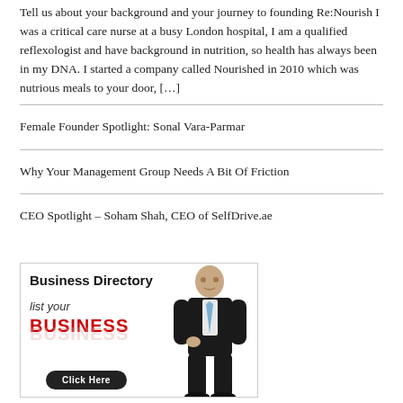Tell us about your background and your journey to founding Re:Nourish I was a critical care nurse at a busy London hospital, I am a qualified reflexologist and have background in nutrition, so health has always been in my DNA. I started a company called Nourished in 2010 which was nutrious meals to your door, […]
Female Founder Spotlight: Sonal Vara-Parmar
Why Your Management Group Needs A Bit Of Friction
CEO Spotlight – Soham Shah, CEO of SelfDrive.ae
[Figure (infographic): Business Directory advertisement with text 'Business Directory', 'list your', 'BUSINESS' in red bold, a 'Click Here' button, and a man in a dark suit standing on the right side of the ad.]